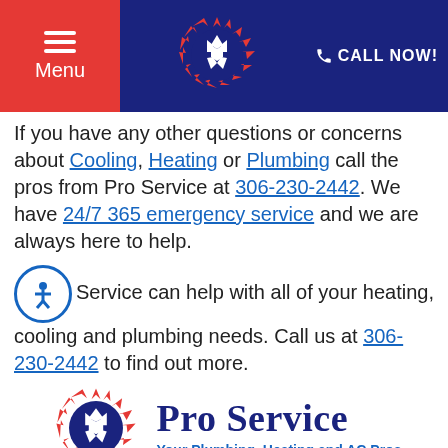Menu | Pro Service Logo | CALL NOW!
If you have any other questions or concerns about Cooling, Heating or Plumbing call the pros from Pro Service at 306-230-2442. We have 24/7 365 emergency service and we are always here to help.
Service can help with all of your heating, cooling and plumbing needs. Call us at 306-230-2442 to find out more.
[Figure (logo): Pro Service logo with sunburst and snowflake emblem, text reading Pro Service - Your Plumbing, Heating and AC Pros]
[Figure (photo): Photo of HVAC equipment including outdoor AC unit and indoor air handler at bottom of page]